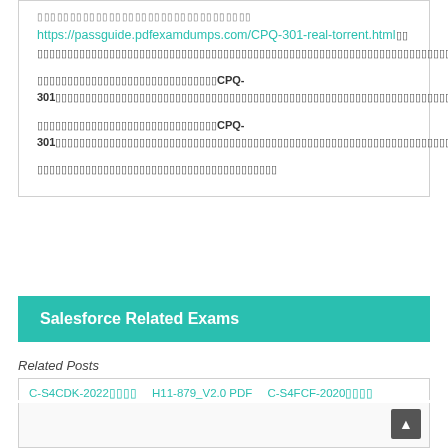▯▯▯▯▯▯▯▯▯▯▯▯▯▯▯▯▯▯▯▯▯▯▯▯▯▯▯▯▯▯▯
https://passguide.pdfexamdumps.com/CPQ-301-real-torrent.html ▯▯ ▯▯▯▯▯▯▯▯▯▯▯▯▯▯▯▯▯▯▯▯▯▯▯▯▯▯▯▯▯▯▯▯▯▯▯▯▯▯▯▯▯▯▯▯▯▯▯▯▯▯▯▯▯▯▯▯▯▯▯▯▯▯▯▯▯▯▯▯▯▯▯▯▯
▯▯▯▯▯▯▯▯▯▯▯▯▯▯▯▯▯▯▯▯▯▯▯▯▯▯▯▯▯▯CPQ-301▯▯▯▯▯▯▯▯▯▯▯▯▯▯▯▯▯▯▯▯▯▯▯▯▯▯▯▯▯▯▯▯▯▯▯▯▯▯▯▯▯▯▯▯▯▯▯▯▯▯▯▯▯▯▯▯
▯▯▯▯▯▯▯▯▯▯▯▯▯▯▯▯▯▯▯▯▯▯▯▯▯▯▯▯▯▯CPQ-301▯▯▯▯▯▯▯▯▯▯▯▯▯▯▯▯▯▯▯▯▯▯▯▯▯▯▯▯▯▯▯▯▯▯▯▯▯▯▯▯▯▯▯▯▯▯▯▯▯▯▯▯▯▯▯▯
▯▯▯▯▯▯▯▯▯▯▯▯▯▯▯▯▯▯▯▯▯▯▯▯▯▯▯▯▯▯▯▯▯▯▯▯
Salesforce Related Exams
Related Posts
C-S4CDK-2022▯▯▯▯  H11-879_V2.0 PDF  C-S4FCF-2020▯▯▯▯